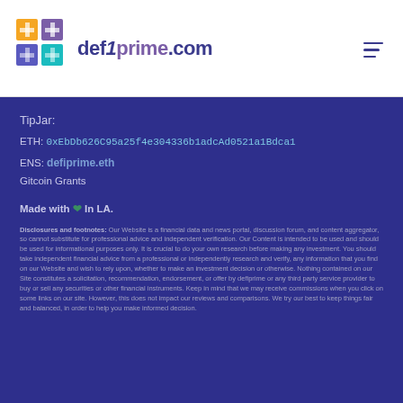[Figure (logo): DeFi Prime logo with colorful plus sign icon and text 'defiprime.com']
TipJar:
ETH: 0xEbDb626C95a25f4e304336b1adcAd0521a1Bdca1
ENS: defiprime.eth
Gitcoin Grants
Made with ❤ In LA.
Disclosures and footnotes: Our Website is a financial data and news portal, discussion forum, and content aggregator, so cannot substitute for professional advice and independent verification. Our Content is intended to be used and should be used for informational purposes only. It is crucial to do your own research before making any investment. You should take independent financial advice from a professional or independently research and verify, any information that you find on our Website and wish to rely upon, whether to make an investment decision or otherwise. Nothing contained on our Site constitutes a solicitation, recommendation, endorsement, or offer by defiprime or any third party service provider to buy or sell any securities or other financial instruments. Keep in mind that we may receive commissions when you click on some links on our site. However, this does not impact our reviews and comparisons. We try our best to keep things fair and balanced, in order to help you make informed decision.